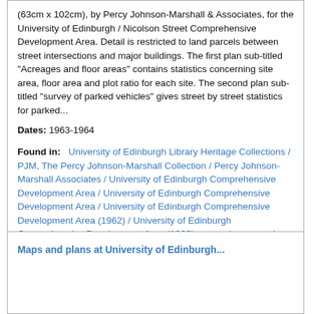(63cm x 102cm), by Percy Johnson-Marshall & Associates, for the University of Edinburgh / Nicolson Street Comprehensive Development Area. Detail is restricted to land parcels between street intersections and major buildings. The first plan sub-titled "Acreages and floor areas" contains statistics concerning site area, floor area and plot ratio for each site. The second plan sub-titled "survey of parked vehicles" gives street by street statistics for parked...
Dates: 1963-1964
Found in: University of Edinburgh Library Heritage Collections / PJM, The Percy Johnson-Marshall Collection / Percy Johnson-Marshall Associates / University of Edinburgh Comprehensive Development Area / University of Edinburgh Comprehensive Development Area / University of Edinburgh Comprehensive Development Area (1962) / University of Edinburgh Comprehensive Development Area (1962): general maps and plans
Maps and plans at University of Edinburgh...